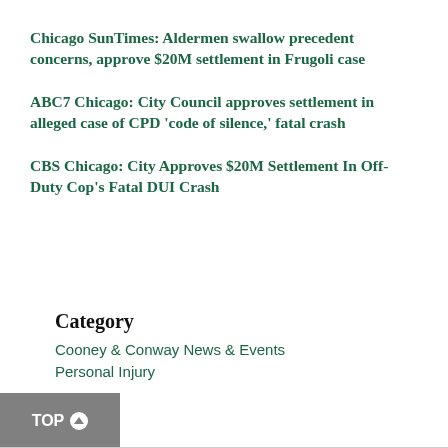Chicago SunTimes: Aldermen swallow precedent concerns, approve $20M settlement in Frugoli case
ABC7 Chicago: City Council approves settlement in alleged case of CPD 'code of silence,' fatal crash
CBS Chicago: City Approves $20M Settlement In Off-Duty Cop's Fatal DUI Crash
Category
Cooney & Conway News & Events
Personal Injury